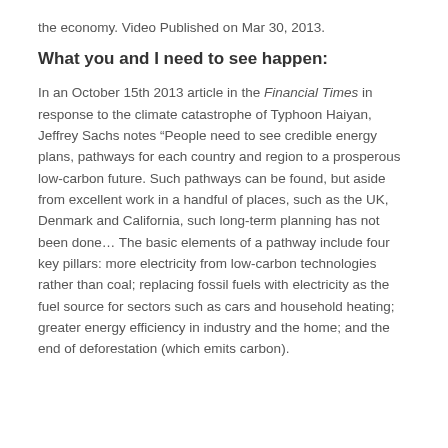the economy. Video Published on Mar 30, 2013.
What you and I need to see happen:
In an October 15th 2013 article in the Financial Times in response to the climate catastrophe of Typhoon Haiyan, Jeffrey Sachs notes “People need to see credible energy plans, pathways for each country and region to a prosperous low-carbon future. Such pathways can be found, but aside from excellent work in a handful of places, such as the UK, Denmark and California, such long-term planning has not been done… The basic elements of a pathway include four key pillars: more electricity from low-carbon technologies rather than coal; replacing fossil fuels with electricity as the fuel source for sectors such as cars and household heating; greater energy efficiency in industry and the home; and the end of deforestation (which emits carbon).